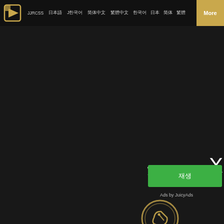JJRCSS  日本語  J한국어  简体中文  繁體中文  العربية  한국어  日本  简体  繁體  More
[Figure (screenshot): Dark video website main content area, mostly black/dark background]
X
Watch My Girlfriend
The Biggest Video Archive
재생
Ads by JuicyAds
[Figure (logo): JuicyAds circular logo in orange/gold color]